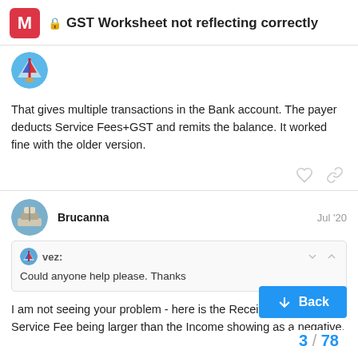GST Worksheet not reflecting correctly
[Figure (photo): User avatar: sailboat with red and blue sails]
That gives multiple transactions in the Bank account. The payer deducts Service Fees+GST and remits the balance. It worked fine with the older version.
Brucanna  Jul '20
[Figure (photo): User avatar: boat/ship]
vez: Could anyone help please. Thanks
I am not seeing your problem - here is the Receipt entry with the Service Fee being larger than the Income showing as a negative.